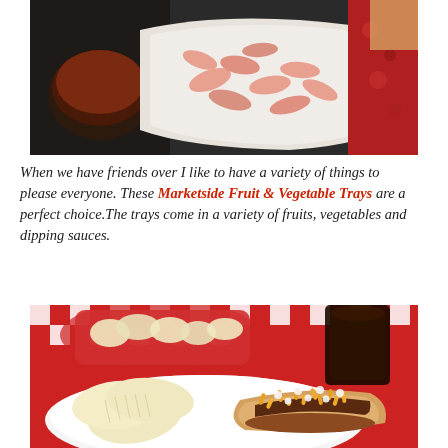[Figure (photo): Photo of shrimp in a white serving dish with a small bowl of dark dipping sauce, on a metal mesh table with red bandana fabric in the background]
When we have friends over I like to have a variety of things to please everyone. These Marketside Fruit & Vegetable Trays are a perfect choice.The trays come in a variety of fruits, vegetables and dipping sauces.
[Figure (photo): Photo of a chili cheese hot dog with shredded cheddar and diced onions on a white plate with ruffled potato chips, red and white checkered tablecloth, red basket of chips and dark drink in background]